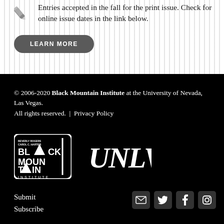Entries accepted in the fall for the print issue. Check for online issue dates in the link below.
LEARN MORE
© 2006-2020 Black Mountain Institute at the University of Nevada, Las Vegas.
All rights reserved. | Privacy Policy
[Figure (logo): Black Mountain Institute logo (white on black)]
[Figure (logo): UNLV logo (white on black)]
Submit
Subscribe
[Figure (other): Social media icons: email, Twitter, Facebook, Instagram]